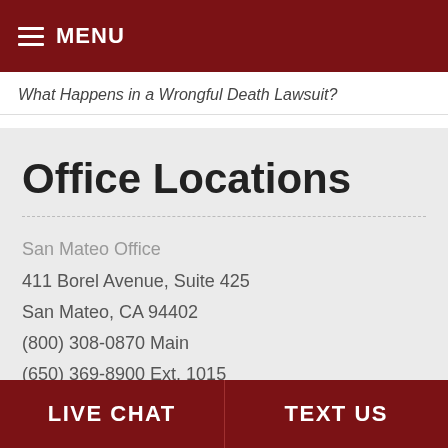MENU
What Happens in a Wrongful Death Lawsuit?
Office Locations
San Mateo Office
411 Borel Avenue, Suite 425
San Mateo, CA 94402
(800) 308-0870 Main
(650) 369-8900 Ext. 1015
LIVE CHAT   TEXT US